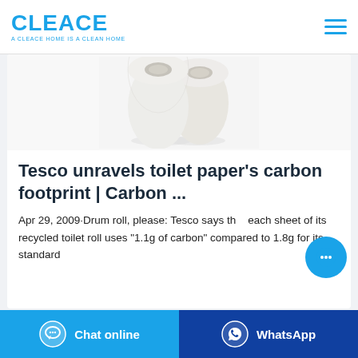CLEACE — A CLEACE HOME IS A CLEAN HOME
[Figure (photo): Two rolls of white toilet paper on a light gray background]
Tesco unravels toilet paper's carbon footprint | Carbon ...
Apr 29, 2009·Drum roll, please: Tesco says that each sheet of its recycled toilet roll uses "1.1g of carbon" compared to 1.8g for its standard